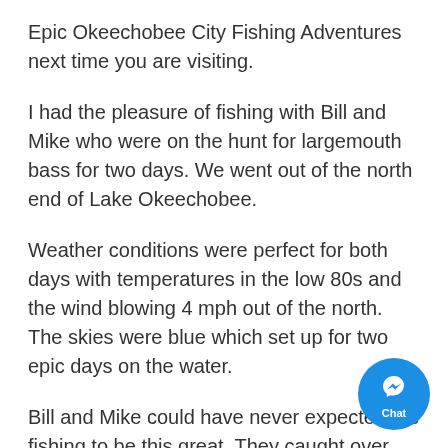Epic Okeechobee City Fishing Adventures next time you are visiting.
I had the pleasure of fishing with Bill and Mike who were on the hunt for largemouth bass for two days. We went out of the north end of Lake Okeechobee.
Weather conditions were perfect for both days with temperatures in the low 80s and the wind blowing 4 mph out of the north. The skies were blue which set up for two epic days on the water.
Bill and Mike could have never expected the fishing to be this great. They caught over 100 fish throughout both their trips. One of the best parts was that they both broke their personal best largemouth bas… caught one weighing 6.2 pounds and Mike caught one
[Figure (other): Facebook Messenger chat button overlay in bottom-right corner]